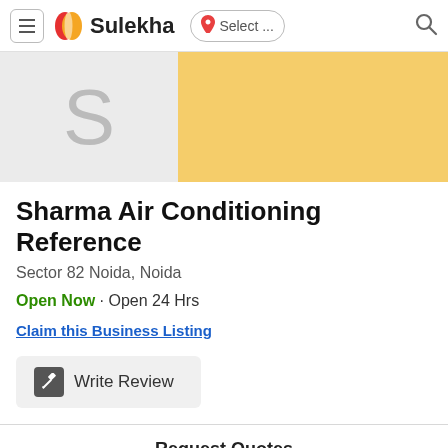Sulekha — Select ... [search]
[Figure (screenshot): Business profile banner with 'S' avatar on grey background and yellow gradient]
Sharma Air Conditioning Reference
Sector 82 Noida, Noida
Open Now · Open 24 Hrs
Claim this Business Listing
Write Review
Request Quotes
Response time